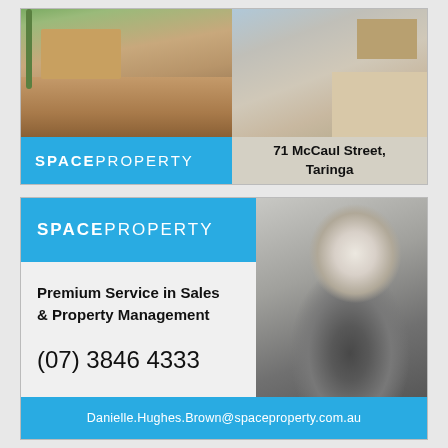[Figure (photo): Real estate advertisement for 71 McCaul Street, Taringa. Top portion shows two property photos (house exterior left, carport/driveway right). Bottom portion has Space Property logo in blue on left with white text, and address text '71 McCaul Street, Taringa' on right panel.]
[Figure (photo): Space Property agency advertisement. Blue header with SPACEPROPERTY logo. Right half shows grayscale photo of female agent (blonde woman in dark blazer). Left side shows text: 'Premium Service in Sales & Property Management' and phone number '(07) 3846 4333'. Blue footer bar with email 'Danielle.Hughes.Brown@spaceproperty.com.au'.]